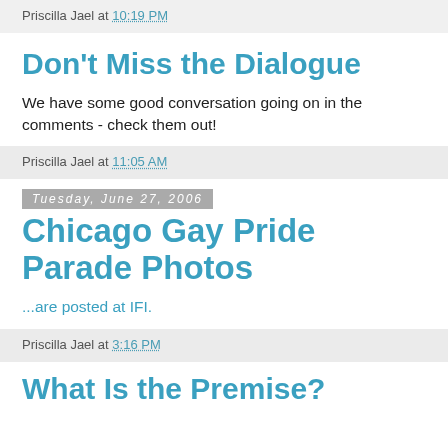Priscilla Jael at 10:19 PM
Don't Miss the Dialogue
We have some good conversation going on in the comments - check them out!
Priscilla Jael at 11:05 AM
Tuesday, June 27, 2006
Chicago Gay Pride Parade Photos
...are posted at IFI.
Priscilla Jael at 3:16 PM
What Is the Premise?